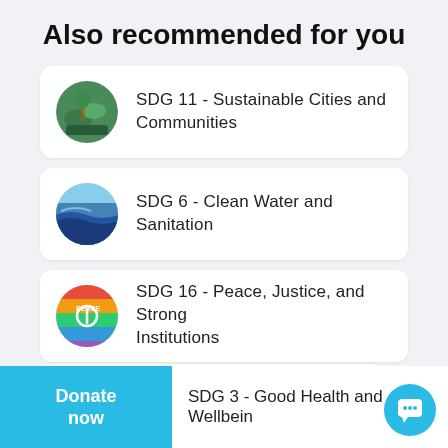Also recommended for you
SDG 11 - Sustainable Cities and Communities
SDG 6 - Clean Water and Sanitation
SDG 16 - Peace, Justice, and Strong Institutions
New York Poverty
SDG 3 - Good Health and Wellbeing
Donate now